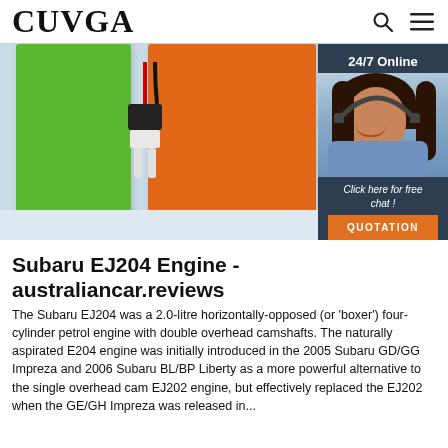CUVGA
[Figure (photo): Photo of green and orange battery blocks with black connector wires, on a light blue/white background. A chat widget overlay appears on the right side showing a woman with a headset, '24/7 Online' label, 'Click here for free chat!' text, and an orange QUOTATION button.]
Subaru EJ204 Engine - australiancar.reviews
The Subaru EJ204 was a 2.0-litre horizontally-opposed (or 'boxer') four-cylinder petrol engine with double overhead camshafts. The naturally aspirated E204 engine was initially introduced in the 2005 Subaru GD/GG Impreza and 2006 Subaru BL/BP Liberty as a more powerful alternative to the single overhead cam EJ202 engine, but effectively replaced the EJ202 when the GE/GH Impreza was released in...